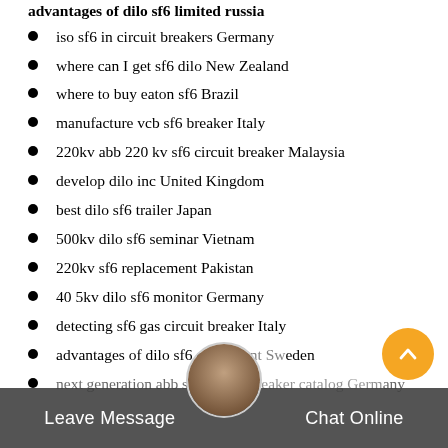advantages of dilo sf6 limited russia
iso sf6 in circuit breakers Germany
where can I get sf6 dilo New Zealand
where to buy eaton sf6 Brazil
manufacture vcb sf6 breaker Italy
220kv abb 220 kv sf6 circuit breaker Malaysia
develop dilo inc United Kingdom
best dilo sf6 trailer Japan
500kv dilo sf6 seminar Vietnam
220kv sf6 replacement Pakistan
40 5kv dilo sf6 monitor Germany
detecting sf6 gas circuit breaker Italy
advantages of dilo sf6 equipment Sweden
next generation abb sf6 circuit breaker catalog Germany
Leave Message    Chat Online